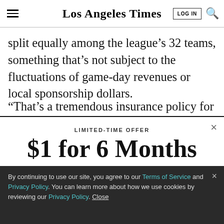Los Angeles Times
split equally among the league’s 32 teams, something that’s not subject to the fluctuations of game-day revenues or local sponsorship dollars.
“That’s a tremendous insurance policy for any team that
LIMITED-TIME OFFER
$1 for 6 Months
SUBSCRIBE NOW
By continuing to use our site, you agree to our Terms of Service and Privacy Policy. You can learn more about how we use cookies by reviewing our Privacy Policy. Close